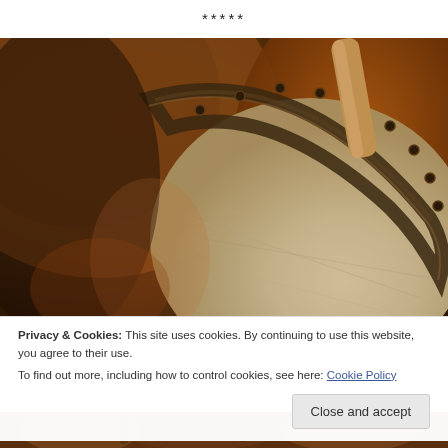*****
[Figure (photo): Close-up photograph of a traditional drum with a worn pale leather drumhead, rusty metal rim with rivets, and warm brown wooden body, shot in dramatic warm orange-brown tones]
Privacy & Cookies: This site uses cookies. By continuing to use this website, you agree to their use.
To find out more, including how to control cookies, see here: Cookie Policy
Close and accept
[Figure (photo): Bottom strip preview of additional drum/instrument photography]